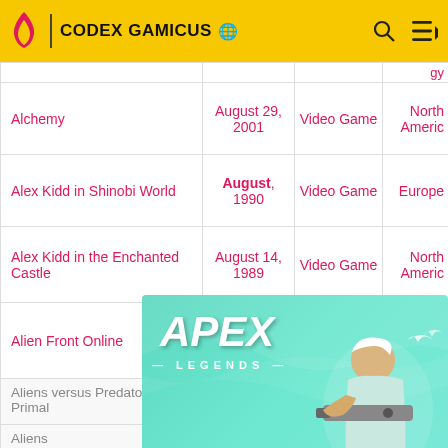CODEX GAMICUS
| Name | Date | Type | Region |
| --- | --- | --- | --- |
| Alchemy | August 29, 2001 | Video Game | North America |
| Alex Kidd in Shinobi World | August, 1990 | Video Game | Europe |
| Alex Kidd in the Enchanted Castle | August 14, 1989 | Video Game | North America |
| Alien Front Online | August 9, 2001 | Video Game | North America |
| Aliens versus Predator 2: Primal | August | Expansion | Europe |
| Aliens ... Primal |  |  | North America |
| Aliens ... Extinction | 2003 | Game | Europe |
[Figure (screenshot): Apex Legends advertisement banner with teal background, character holding a gun, and APEX LEGENDS text]